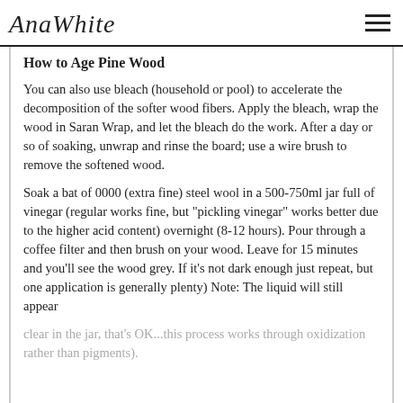AnaWhite
How to Age Pine Wood
You can also use bleach (household or pool) to accelerate the decomposition of the softer wood fibers. Apply the bleach, wrap the wood in Saran Wrap, and let the bleach do the work. After a day or so of soaking, unwrap and rinse the board; use a wire brush to remove the softened wood.
Soak a bat of 0000 (extra fine) steel wool in a 500-750ml jar full of vinegar (regular works fine, but "pickling vinegar" works better due to the higher acid content) overnight (8-12 hours). Pour through a coffee filter and then brush on your wood. Leave for 15 minutes and you'll see the wood grey. If it's not dark enough just repeat, but one application is generally plenty) Note: The liquid will still appear clear in the jar, that's OK...this process works through oxidization rather than pigments).